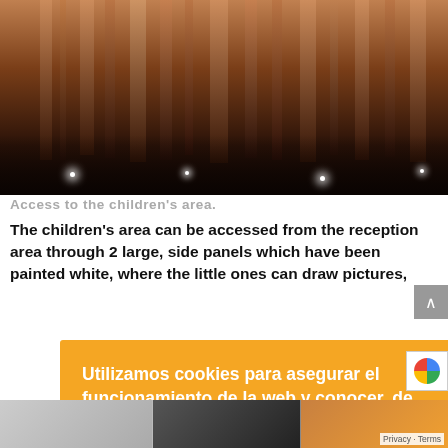[Figure (photo): Interior architectural photo showing amber/brown vertical panels or pillars with small white lights at the bottom, dark floor, shot from below]
Access to the children's area.
The children's area can be accessed from the reception area through 2 large, side panels which have been painted white, where the little ones can draw pictures,
Utilizamos cookies para asegurar el funcionamiento de la web y conocer, de forma anónima, qué te interesa.
Leer más
Ver preferencias
Rechazar
Aceptar todas
[Figure (photo): Bottom strip showing three partial images of interior spaces]
Privacy · Terms